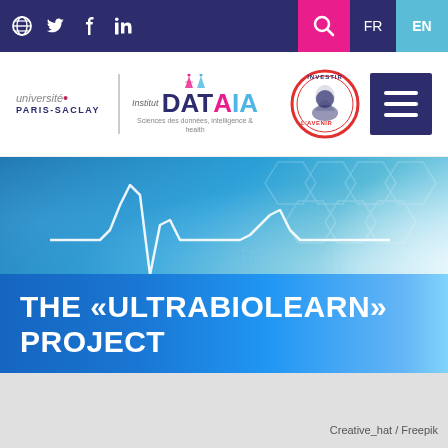Navigation bar with social icons, search, FR/EN language switcher
[Figure (logo): Université Paris-Saclay and DataIA logos with Investir l'Avenir badge and hamburger menu]
[Figure (illustration): Hero banner with blue technology background, heartbeat/waveform graphic, and title THE «ULTRABIOLEARN» PROJECT]
THE «ULTRABIOLEARN» PROJECT
Creative_hat / Freepik